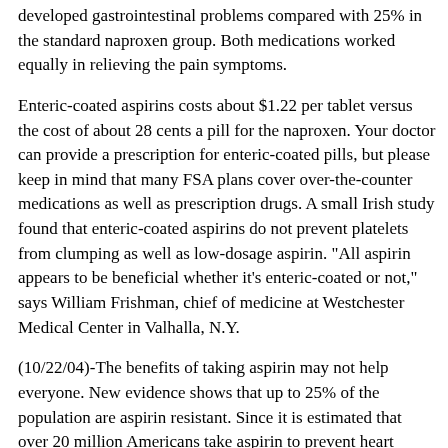developed gastrointestinal problems compared with 25% in the standard naproxen group. Both medications worked equally in relieving the pain symptoms.
Enteric-coated aspirins costs about $1.22 per tablet versus the cost of about 28 cents a pill for the naproxen. Your doctor can provide a prescription for enteric-coated pills, but please keep in mind that many FSA plans cover over-the-counter medications as well as prescription drugs. A small Irish study found that enteric-coated aspirins do not prevent platelets from clumping as well as low-dosage aspirin. "All aspirin appears to be beneficial whether it's enteric-coated or not," says William Frishman, chief of medicine at Westchester Medical Center in Valhalla, N.Y.
(10/22/04)-The benefits of taking aspirin may not help everyone. New evidence shows that up to 25% of the population are aspirin resistant. Since it is estimated that over 20 million Americans take aspirin to prevent heart attacks or strokes, this means that a substantial percentage of the users are non-responsive to the medicine. Recently it has been determined that aspirin takers who are resistant have a higher rate of heart attacks and strokes than do nonresistant aspirin users.
New tests have evolved that can determine who is resistant to aspirin consumption. The standard test of how readily platelets clump is called aggregometry. It is both an expensive and time